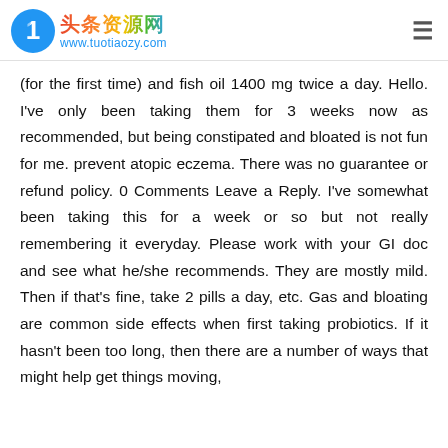头条资源网 www.tuotiaozy.com
(for the first time) and fish oil 1400 mg twice a day. Hello. I've only been taking them for 3 weeks now as recommended, but being constipated and bloated is not fun for me. prevent atopic eczema. There was no guarantee or refund policy. 0 Comments Leave a Reply. I've somewhat been taking this for a week or so but not really remembering it everyday. Please work with your GI doc and see what he/she recommends. They are mostly mild. Then if that's fine, take 2 pills a day, etc. Gas and bloating are common side effects when first taking probiotics. If it hasn't been too long, then there are a number of ways that might help get things moving,